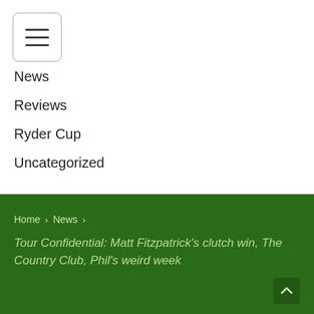[Figure (screenshot): Hamburger menu button with three horizontal lines inside a rounded rectangle border]
News
Reviews
Ryder Cup
Uncategorized
Home > News > Tour Confidential: Matt Fitzpatrick’s clutch win, The Country Club, Phil’s weird week